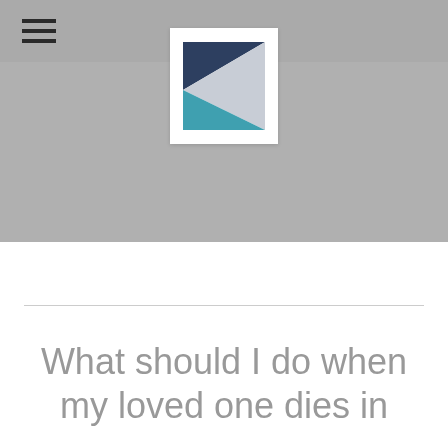☰
[Figure (logo): A geometric logo featuring a square frame with three triangular sections in dark navy blue, light gray, and teal/cyan colors forming a stylized letter K shape]
What should I do when my loved one dies in